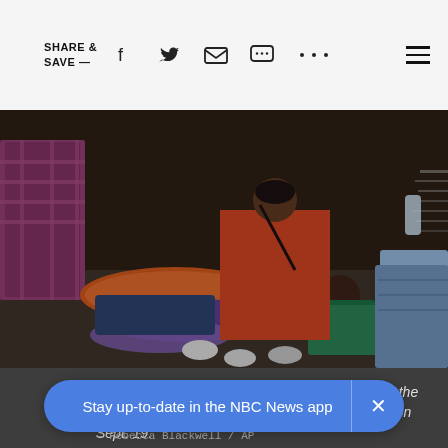SHARE & SAVE —
[Figure (photo): Families with children lying and sitting on the floor/street at night, preparing to sleep outdoors in the Roma neighborhood of Mexico City after earthquake, Sept. 19. People are resting on blankets and makeshift bedding on a sidewalk or indoor floor area.]
Families fearing aftershocks prepare to sleep on the street in the Roma neighborhood of Mexico City on Sept. 19.
— Rebecca Blackwell / AP
Stay up-to-date in the NBC News app